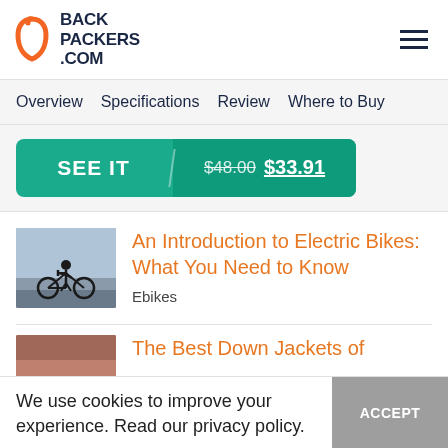BACKPACKERS.COM
Overview  Specifications  Review  Where to Buy
SEE IT  $48.00 $33.91
[Figure (photo): Person riding a bicycle against a sky backdrop]
An Introduction to Electric Bikes: What You Need to Know
Ebikes
The Best Down Jackets of
We use cookies to improve your experience. Read our privacy policy.